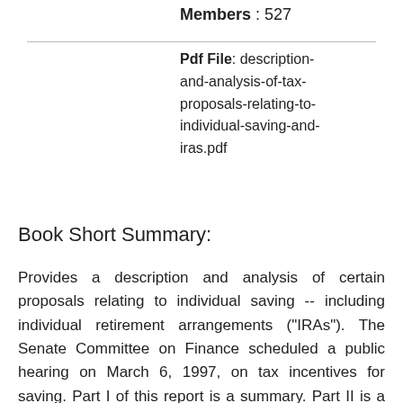Members : 527
Pdf File: description-and-analysis-of-tax-proposals-relating-to-individual-saving-and-iras.pdf
Book Short Summary:
Provides a description and analysis of certain proposals relating to individual saving -- including individual retirement arrangements ("IRAs"). The Senate Committee on Finance scheduled a public hearing on March 6, 1997, on tax incentives for saving. Part I of this report is a summary. Part II is a description of present law and legislative background. Part III